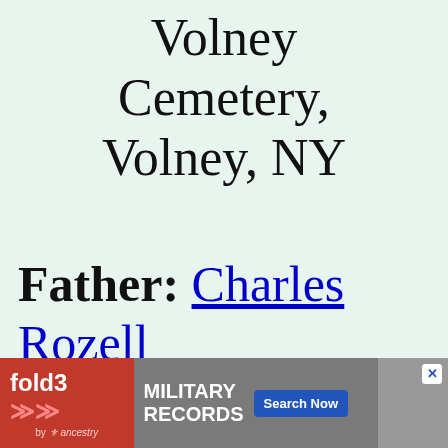Volney Cemetery, Volney, NY
Father: Charles Rozell MCDOUGALL
b. 28 MAR...
[Figure (screenshot): Advertisement banner for fold3 by Ancestry: Military Records, Search Now button, with a photo of a soldier]